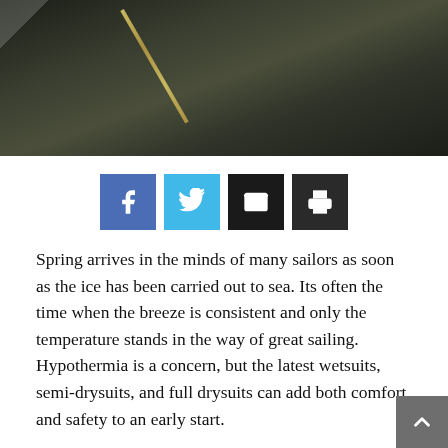[Figure (photo): Close-up photo of a dark wetsuit or drysuit with a gold/yellow zipper visible, dark olive/charcoal fabric texture]
[Figure (infographic): Social sharing buttons: Facebook (blue), Twitter (light blue), Email (black), Print (dark gray)]
Spring arrives in the minds of many sailors as soon as the ice has been carried out to sea. Its often the time when the breeze is consistent and only the temperature stands in the way of great sailing. Hypothermia is a concern, but the latest wetsuits, semi-drysuits, and full drysuits can add both comfort and safety to an early start.